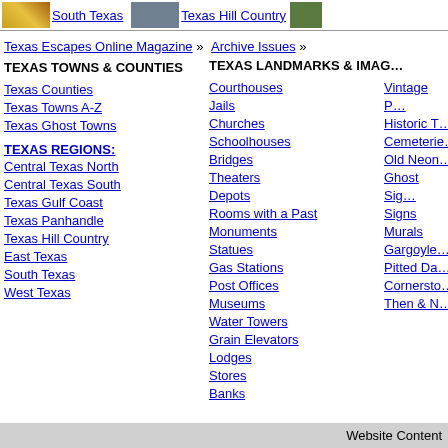South Texas | Texas Hill Country
Texas Escapes Online Magazine » Archive Issues »
TEXAS TOWNS & COUNTIES
TEXAS LANDMARKS & IMAGES
Texas Counties
Texas Towns A-Z
Texas Ghost Towns
TEXAS REGIONS:
Central Texas North
Central Texas South
Texas Gulf Coast
Texas Panhandle
Texas Hill Country
East Texas
South Texas
West Texas
Courthouses
Jails
Churches
Schoolhouses
Bridges
Theaters
Depots
Rooms with a Past
Monuments
Statues
Gas Stations
Post Offices
Museums
Water Towers
Grain Elevators
Lodges
Stores
Banks
Vintage P...
Historic T...
Cemeteries
Old Neon...
Ghost Sig...
Signs
Murals
Gargoyles
Pitted Da...
Cornersto...
Then & N...
Website Content